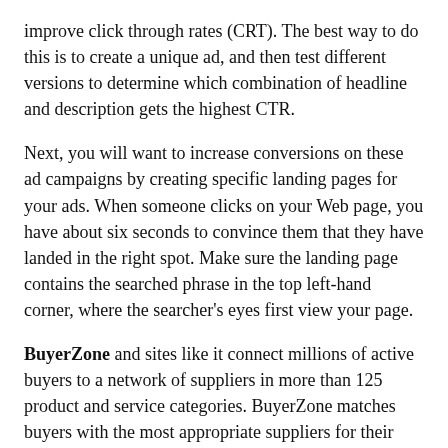improve click through rates (CRT). The best way to do this is to create a unique ad, and then test different versions to determine which combination of headline and description gets the highest CTR.
Next, you will want to increase conversions on these ad campaigns by creating specific landing pages for your ads. When someone clicks on your Web page, you have about six seconds to convince them that they have landed in the right spot. Make sure the landing page contains the searched phrase in the top left-hand corner, where the searcher's eyes first view your page.
BuyerZone and sites like it connect millions of active buyers to a network of suppliers in more than 125 product and service categories. BuyerZone matches buyers with the most appropriate suppliers for their needs. Buyers receive competitive price quotes and can access expert purchasing advice. The service is fast and free. Suppliers receive the